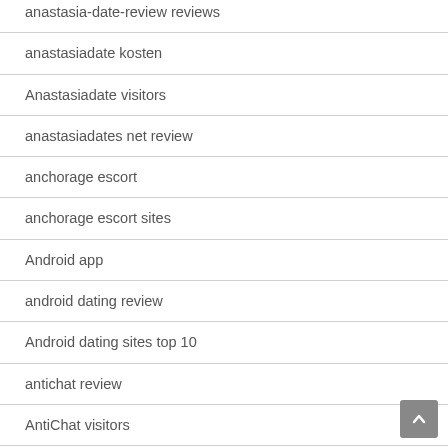anastasia-date-review reviews
anastasiadate kosten
Anastasiadate visitors
anastasiadates net review
anchorage escort
anchorage escort sites
Android app
android dating review
Android dating sites top 10
antichat review
AntiChat visitors
antioch escort
Apex fazit